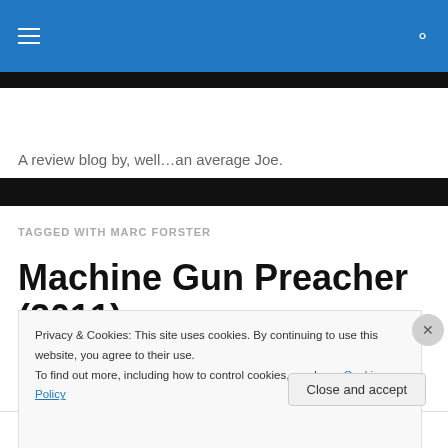Site header with hamburger menu and search icon
A review blog by, well…an average Joe.
TAGGED WITH MARC FORSTER
Machine Gun Preacher (2011)
Privacy & Cookies: This site uses cookies. By continuing to use this website, you agree to their use.
To find out more, including how to control cookies, see here: Cookie Policy
Close and accept